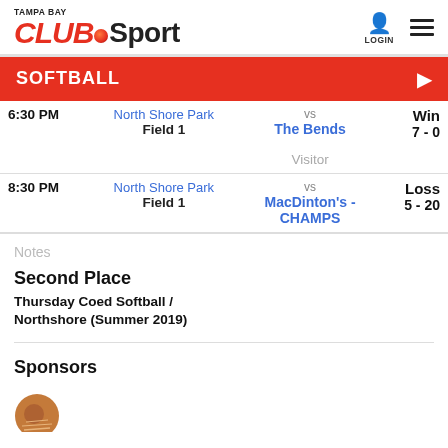TAMPA BAY CLUBSport LOGIN
SOFTBALL
| Time | Location | Matchup | Result |
| --- | --- | --- | --- |
| 6:30 PM | North Shore Park
Field 1 | vs
The Bends | Win
7 - 0 |
|  |  | Visitor |  |
| 8:30 PM | North Shore Park
Field 1 | vs
MacDinton's - CHAMPS | Loss
5 - 20 |
Notes
Second Place
Thursday Coed Softball / Northshore (Summer 2019)
Sponsors